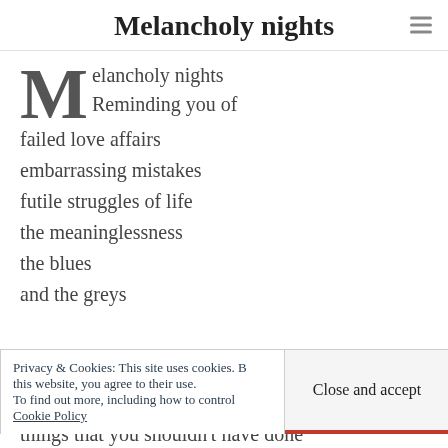Melancholy nights
Melancholy nights
Reminding you of
failed love affairs
embarrassing mistakes
futile struggles of life
the meaninglessness
the blues
and the greys
Privacy & Cookies: This site uses cookies. By continuing to use this website, you agree to their use.
To find out more, including how to control cookies, see here:
Cookie Policy
Close and accept
things that you shouldn't have done